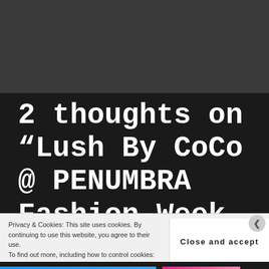[Figure (screenshot): Dark grey background area at top of webpage screenshot]
2 thoughts on “Lush By CoCo @ PENUMBRA Fashion Week S/S 2014”
Privacy & Cookies: This site uses cookies. By continuing to use this website, you agree to their use.
To find out more, including how to control cookies:
Close and accept